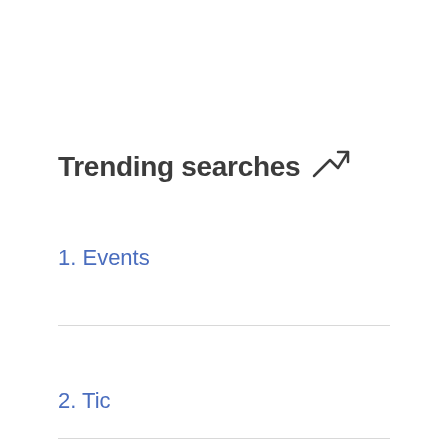Trending searches ↗
1. Events
2. Tic